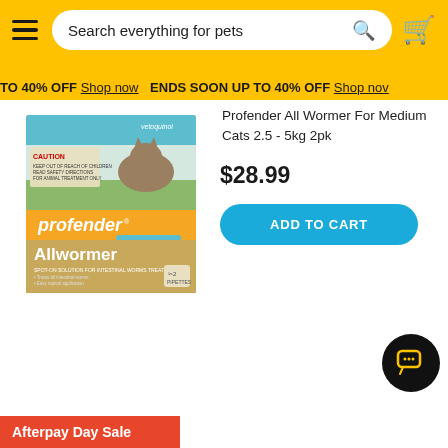Search everything for pets
ENDS SOON UP TO 40% OFF Shop now
Profender All Wormer For Medium Cats 2.5 - 5kg 2pk
$28.99
[Figure (photo): Profender Allwormer for cats 2.5-5kg 2pk product box with cat image, caution label, vetoquinol branding]
ADD TO CART
Afterpay Day Sale